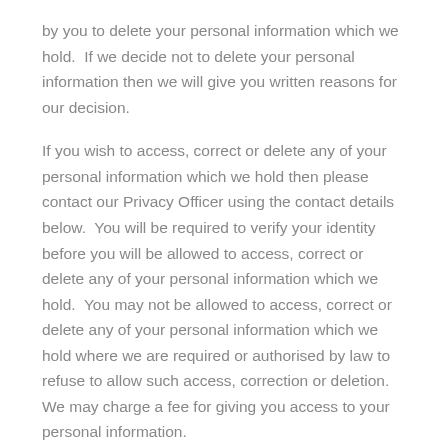by you to delete your personal information which we hold.  If we decide not to delete your personal information then we will give you written reasons for our decision.
If you wish to access, correct or delete any of your personal information which we hold then please contact our Privacy Officer using the contact details below.  You will be required to verify your identity before you will be allowed to access, correct or delete any of your personal information which we hold.  You may not be allowed to access, correct or delete any of your personal information which we hold where we are required or authorised by law to refuse to allow such access, correction or deletion.  We may charge a fee for giving you access to your personal information.